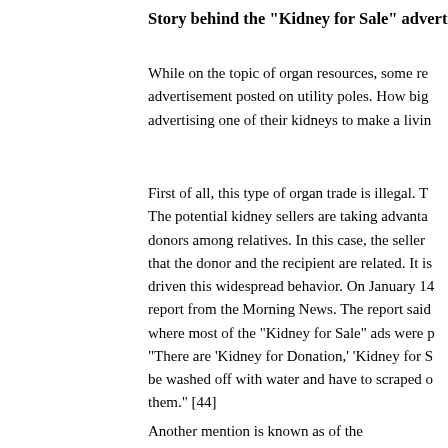Story behind the "Kidney for Sale" advertis...
While on the topic of organ resources, some re... advertisement posted on utility poles. How big... advertising one of their kidneys to make a livin...
First of all, this type of organ trade is illegal. T... The potential kidney sellers are taking advanta... donors among relatives. In this case, the seller... that the donor and the recipient are related. It is... driven this widespread behavior. On January 14... report from the Morning News. The report said... where most of the "Kidney for Sale" ads were p... "There are 'Kidney for Donation,' 'Kidney for S... be washed off with water and have to scraped o... them." [44]
Another mention is known as of the...